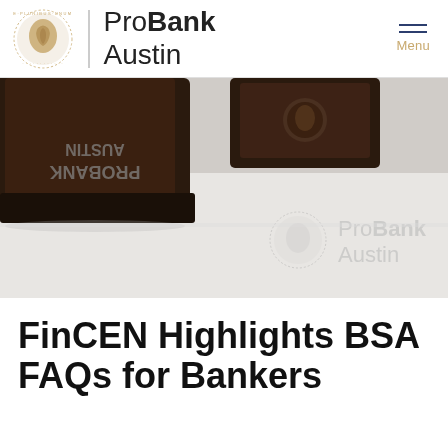[Figure (logo): ProBank Austin logo with circular coin-style emblem (E Pluribus Unum profile) and brand name 'ProBank Austin' in mixed weight Arial, with a vertical dividing line between icon and text. Menu hamburger icon and 'Menu' label in gold top right.]
[Figure (photo): Photograph of a rubber stamp with 'ProBank Austin' text on a leather handle, placed on a white surface. A debossed ProBank Austin logo and text is visible on the surface below.]
FinCEN Highlights BSA FAQs for Bankers